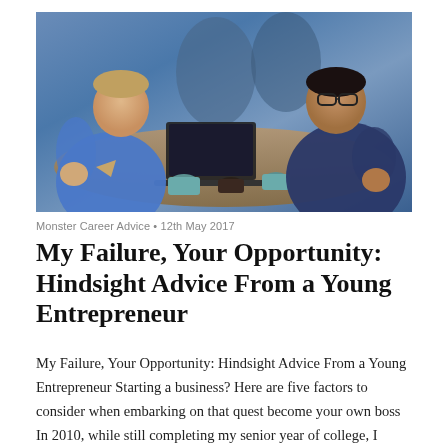[Figure (photo): Two young men smiling and working together at a table with a laptop, coffee cups, and food. The man on the left wears a blue shirt; the man on the right wears glasses and a dark blue hoodie. Other people visible in the background. Office or cafe setting.]
Monster Career Advice • 12th May 2017
My Failure, Your Opportunity: Hindsight Advice From a Young Entrepreneur
My Failure, Your Opportunity: Hindsight Advice From a Young Entrepreneur Starting a business? Here are five factors to consider when embarking on that quest become your own boss In 2010, while still completing my senior year of college, I opened my first business. It was a three-floor coffee shop in upstate New York. While I lacked any